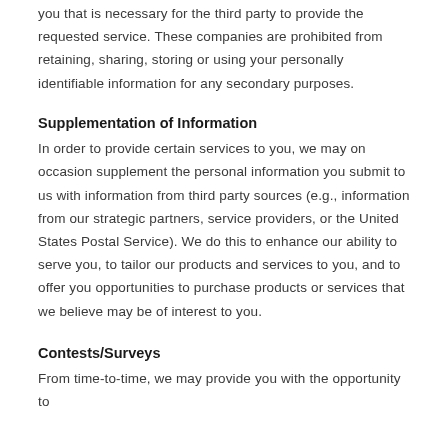you that is necessary for the third party to provide the requested service. These companies are prohibited from retaining, sharing, storing or using your personally identifiable information for any secondary purposes.
Supplementation of Information
In order to provide certain services to you, we may on occasion supplement the personal information you submit to us with information from third party sources (e.g., information from our strategic partners, service providers, or the United States Postal Service). We do this to enhance our ability to serve you, to tailor our products and services to you, and to offer you opportunities to purchase products or services that we believe may be of interest to you.
Contests/Surveys
From time-to-time, we may provide you with the opportunity to